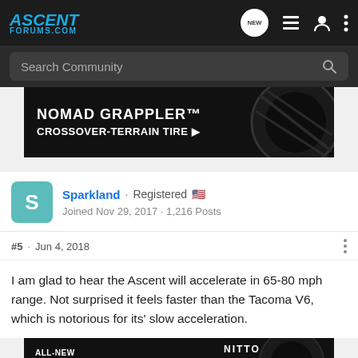ASCENT FORUMS.COM — navigation bar with NEW, list, user, menu icons
[Figure (screenshot): Search Community input bar with magnifying glass icon]
[Figure (photo): Nomad Grappler Crossover-Terrain Tire advertisement banner]
Sparkland · Registered 🇺🇸 Joined Nov 29, 2017 · 1,216 Posts
#5 · Jun 4, 2018
I am glad to hear the Ascent will accelerate in 65-80 mph range. Not surprised it feels faster than the Tacoma V6, which is notorious for its' slow acceleration.
[Figure (photo): All-New Nomad Grappler Crossover-Terrain Tire advertisement banner at bottom]